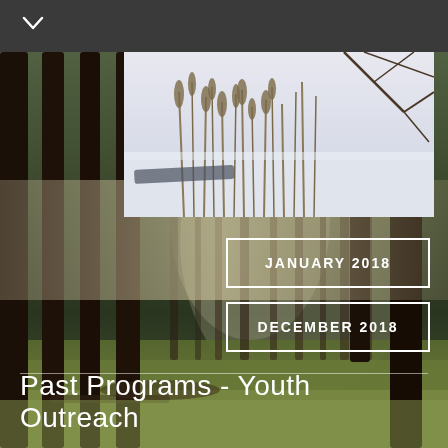[Figure (photo): Forest scene with tall dark tree trunks, misty light filtering through, green mossy ground, serving as background image for the entire page]
[Figure (photo): Winter/snow scene overlay in upper right portion showing snow-covered reeds, grasses, and branches against a light sky]
JANUARY 2018
DECEMBER 2018
Past Programs - Youth Outreach